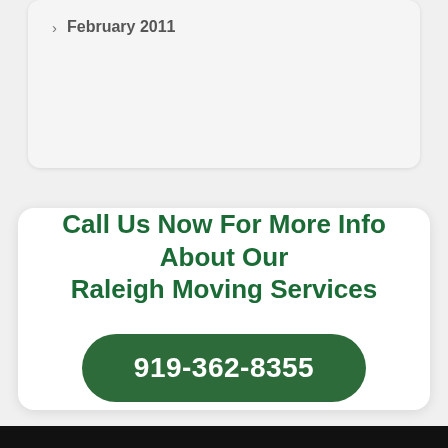February 2011
Call Us Now For More Info About Our Raleigh Moving Services
919-362-8355